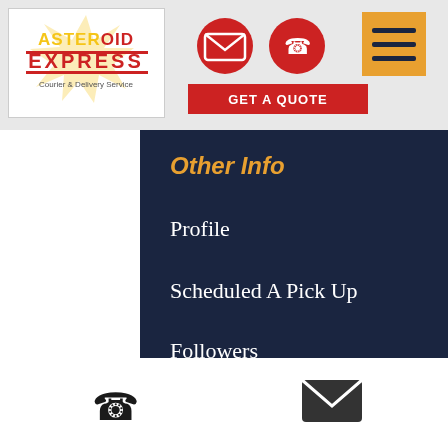[Figure (logo): Asteroid Express Courier & Delivery Service logo]
[Figure (illustration): Email and phone contact icons with GET A QUOTE button]
[Figure (illustration): Hamburger menu button (orange)]
Other Info
Profile
Scheduled A Pick Up
Followers
Locations
[Figure (illustration): Payment methods: VISA, MasterCard, American Express, Discover]
[Figure (illustration): Social media icons: Facebook, Instagram, LinkedIn, and scroll-to-top button]
[Figure (illustration): Bottom bar with phone icon and email icon]